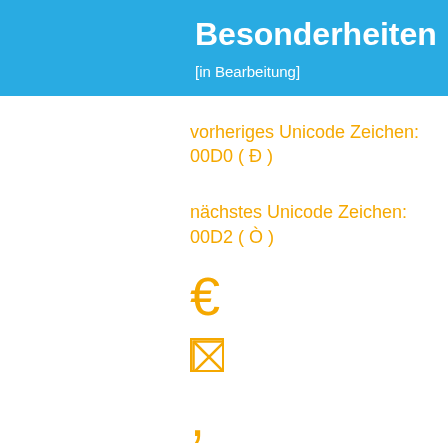Besonderheiten
[in Bearbeitung]
vorheriges Unicode Zeichen:
00D0 ( Ð )
nächstes Unicode Zeichen:
00D2 ( Ò )
€
🗙
,